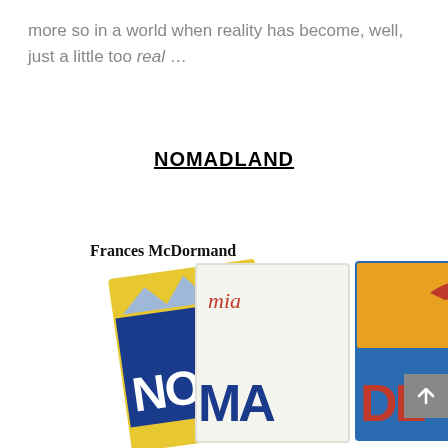more so in a world when reality has become, well, just a little too real …
NOMADLAND
Frances McDormand
[Figure (photo): Movie title 'NOMADLAND' spelled out using overlapping state license plates from states including California (mia), Alaska (aska), and Arizona (ONA), arranged in a fan-like display at the bottom of the page.]